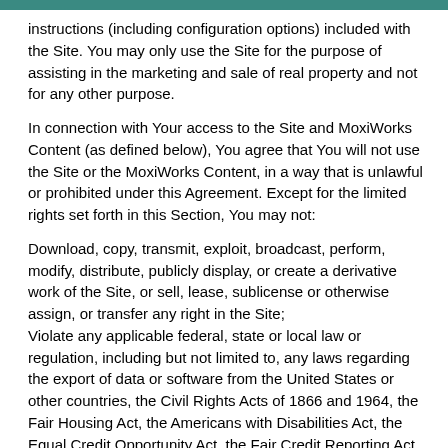instructions (including configuration options) included with the Site. You may only use the Site for the purpose of assisting in the marketing and sale of real property and not for any other purpose.
In connection with Your access to the Site and MoxiWorks Content (as defined below), You agree that You will not use the Site or the MoxiWorks Content, in a way that is unlawful or prohibited under this Agreement. Except for the limited rights set forth in this Section, You may not:
Download, copy, transmit, exploit, broadcast, perform, modify, distribute, publicly display, or create a derivative work of the Site, or sell, lease, sublicense or otherwise assign, or transfer any right in the Site;
Violate any applicable federal, state or local law or regulation, including but not limited to, any laws regarding the export of data or software from the United States or other countries, the Civil Rights Acts of 1866 and 1964, the Fair Housing Act, the Americans with Disabilities Act, the Equal Credit Opportunity Act, the Fair Credit Reporting Act, and the CAN-SPAM Act of 2003;
Obtain unauthorized access to the Site;
Send any advertising or promotional material that is unrelated to the purchase, sale, or marketing of real estate in connection with the Site;
Send junk mail, chain letters, spam, contest advertisements, or similar unsolicited messages;
Create a false identity for the purpose of misleading others, including